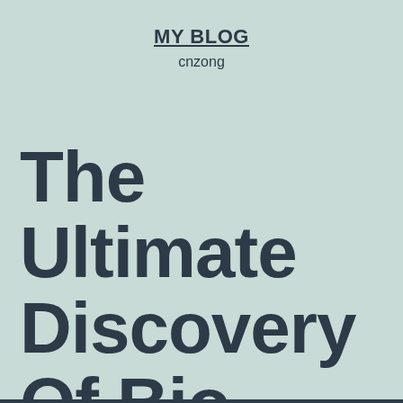MY BLOG
cnzong
The Ultimate Discovery Of Bio.